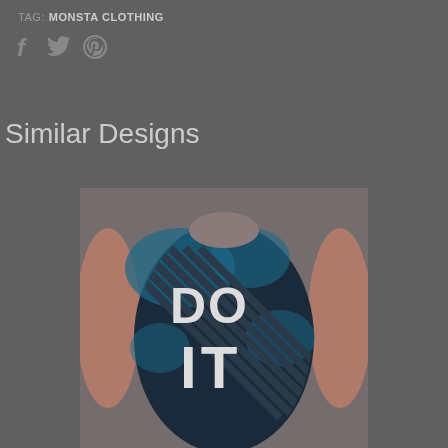TAG: MONSTA CLOTHING
[Figure (infographic): Social media share icons: Facebook (f), Twitter (bird), Pinterest (p)]
Similar Designs
[Figure (photo): Back view of a person wearing a dark navy athletic tank top with 'DO IT' text printed in large block letters with diagonal stripe pattern and teal paint splatter design]